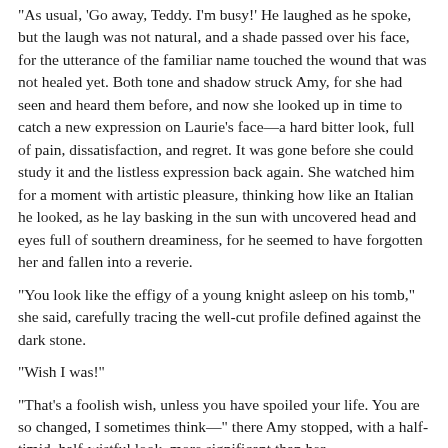“As usual, ‘Go away, Teddy. I’m busy!’ He laughed as he spoke, but the laugh was not natural, and a shade passed over his face, for the utterance of the familiar name touched the wound that was not healed yet. Both tone and shadow struck Amy, for she had seen and heard them before, and now she looked up in time to catch a new expression on Laurie’s face—a hard bitter look, full of pain, dissatisfaction, and regret. It was gone before she could study it and the listless expression back again. She watched him for a moment with artistic pleasure, thinking how like an Italian he looked, as he lay basking in the sun with uncovered head and eyes full of southern dreaminess, for he seemed to have forgotten her and fallen into a reverie.
“You look like the effigy of a young knight asleep on his tomb,” she said, carefully tracing the well-cut profile defined against the dark stone.
“Wish I was!”
“That’s a foolish wish, unless you have spoiled your life. You are so changed, I sometimes think—” there Amy stopped, with a half-timid, half-wistful look, more significant than her